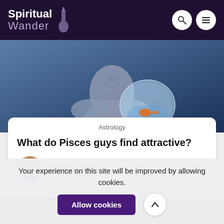Spiritual Wander
[Figure (photo): A person holding a fishbowl with a goldfish against a blue background, partially visible from behind]
Astrology
What do Pisces guys find attractive?
By Maria Watson
[Figure (photo): Partial view of a second article's thumbnail image]
Your experience on this site will be improved by allowing cookies.